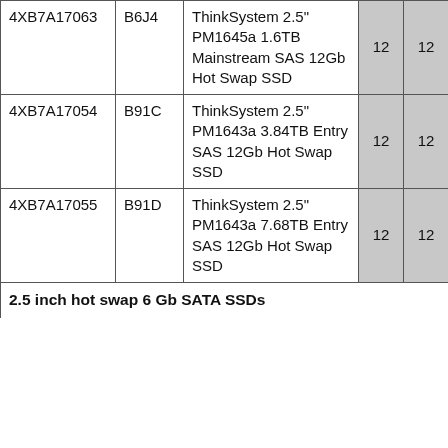| 4XB7A17063 | B6J4 | ThinkSystem 2.5" PM1645a 1.6TB Mainstream SAS 12Gb Hot Swap SSD | 12 | 12 |
| 4XB7A17054 | B91C | ThinkSystem 2.5" PM1643a 3.84TB Entry SAS 12Gb Hot Swap SSD | 12 | 12 |
| 4XB7A17055 | B91D | ThinkSystem 2.5" PM1643a 7.68TB Entry SAS 12Gb Hot Swap SSD | 12 | 12 |
| 2.5 inch hot swap 6 Gb SATA SSDs |  |  |  |  |